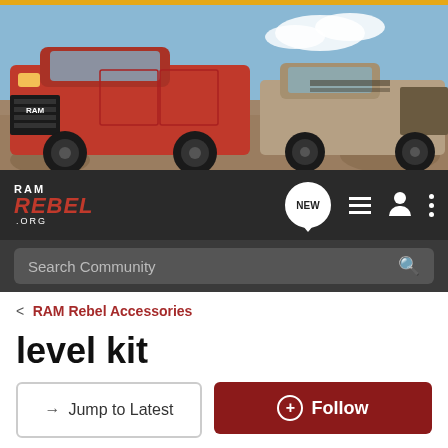[Figure (photo): Hero banner image showing two RAM trucks (red on left, tan on right) on a dirt/desert terrain with sky background]
RAM REBEL .ORG — navigation bar with NEW chat button, list icon, user icon, menu icon
Search Community
< RAM Rebel Accessories
level kit
→ Jump to Latest
+ Follow
1 - 14 of 14 Posts
brandon_niclkerson · Registered
Joined Apr 27, 2017 · 5 Posts